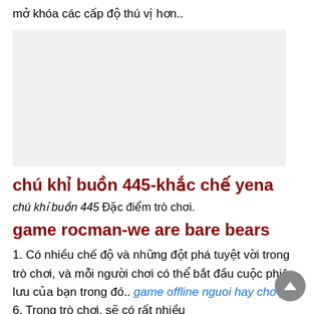mở khóa các cấp độ thú vị hơn..
[Figure (other): Gray placeholder image block]
chú khỉ buồn 445-khắc chế yena
chú khỉ buồn 445 Đặc điểm trò chơi.
game rocman-we are bare bears
1. Có nhiều chế độ và những đột phá tuyệt vời trong trò chơi, và mỗi người chơi có thể bắt đầu cuộc phiêu lưu của bạn trong đó.. game offline nguoi hay cho pc 6. Trong trò chơi, sẽ có rất nhiều